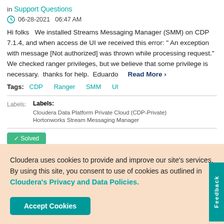in Support Questions
06-28-2021   06:47 AM
Hi folks   We installed Streams Messaging Manager (SMM) on CDP 7.1.4, and when access de UI we received this error: " An exception with message [Not authorized] was thrown while processing request."  We checked ranger privileges, but we believe that some privilege is necessary.  thanks for help.  Eduardo   Read More >
Tags:  CDP   Ranger   SMM   UI
Labels:   Labels:  Cloudera Data Platform Private Cloud (CDP-Private)  Hortonworks Stream Messaging Manager
[Figure (screenshot): Partially visible green 'Solved' button]
Cloudera uses cookies to provide and improve our site's services. By using this site, you consent to use of cookies as outlined in Cloudera's Privacy and Data Policies.
Accept Cookies